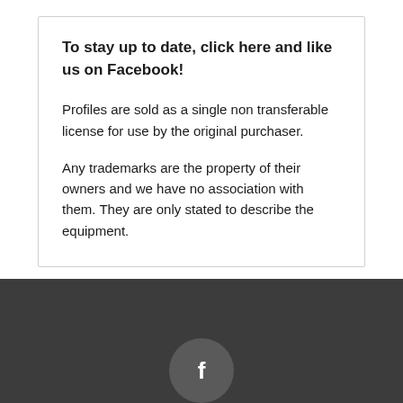To stay up to date, click here and like us on Facebook!
Profiles are sold as a single non transferable license for use by the original purchaser.
Any trademarks are the property of their owners and we have no association with them. They are only stated to describe the equipment.
[Figure (logo): Facebook icon in a dark grey circle, displayed in the dark footer area]